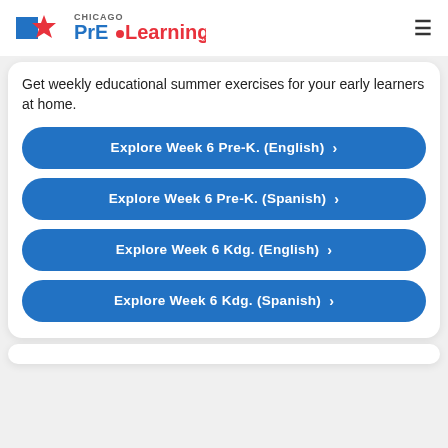Chicago PrEoLearning
Get weekly educational summer exercises for your early learners at home.
Explore Week 6 Pre-K. (English) >
Explore Week 6 Pre-K. (Spanish) >
Explore Week 6 Kdg. (English) >
Explore Week 6 Kdg. (Spanish) >